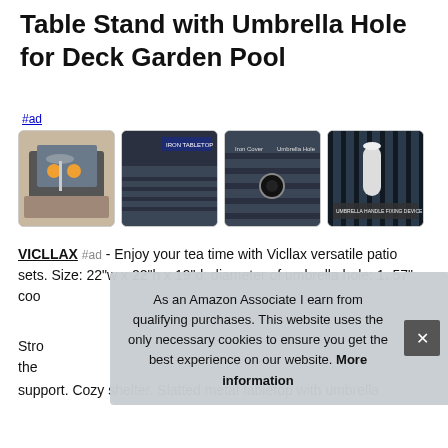Table Stand with Umbrella Hole for Deck Garden Pool
#ad
[Figure (photo): Four product images: patio table set with drinks, close-up of iron tabletop corner, iron cover and umbrella hole detail, umbrella handle fixing device]
VICLLAX #ad - Enjoy your tea time with Vicllax versatile patio sets. Size: 22"w x 22"h x 19"d; diameter of umbrella hole: 1. 57" coo
Stro the
support. Cozy shelter. Slatted metal tabletop with umbrella
As an Amazon Associate I earn from qualifying purchases. This website uses the only necessary cookies to ensure you get the best experience on our website. More information